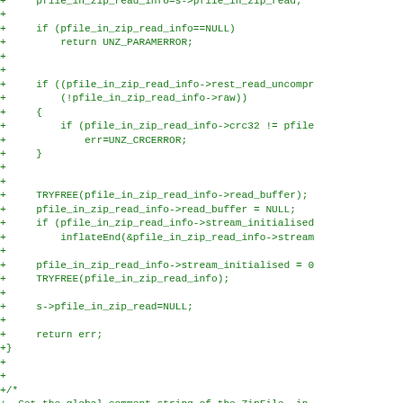[Figure (screenshot): Code diff snippet in green monospace font on white background showing C code for zip file reading functions including null checks, CRC error handling, buffer freeing, stream deinitialization, and return statements. Lines prefixed with '+' indicating additions.]